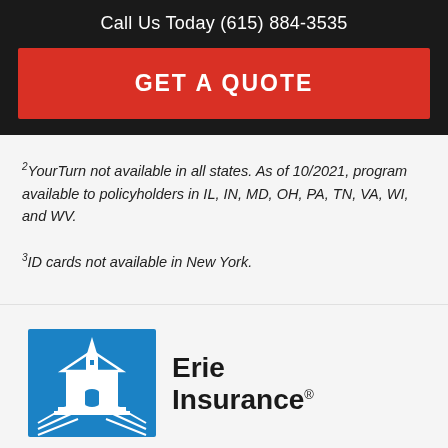Call Us Today (615) 884-3535
GET A QUOTE
2YourTurn not available in all states. As of 10/2021, program available to policyholders in IL, IN, MD, OH, PA, TN, VA, WI, and WV.
3ID cards not available in New York.
[Figure (logo): Erie Insurance logo — blue square with white building/steeple illustration, followed by bold text 'Erie Insurance' with registered trademark symbol]